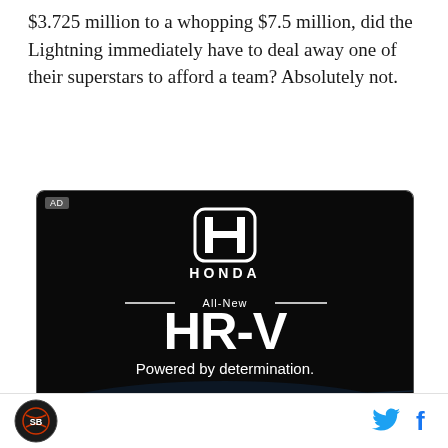$3.725 million to a whopping $7.5 million, did the Lightning immediately have to deal away one of their superstars to afford a team? Absolutely not.
[Figure (advertisement): Honda HR-V advertisement on black background. Shows Honda logo (H in rounded square), HONDA text, 'All-New' with horizontal lines, 'HR-V' in large bold text, 'Powered by determination.' tagline, and a dark car image at bottom.]
Social share icons: Twitter and Facebook